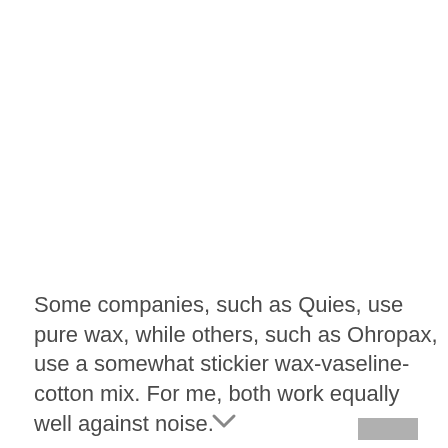Some companies, such as Quies, use pure wax, while others, such as Ohropax, use a somewhat stickier wax-vaseline-cotton mix. For me, both work equally well against noise.